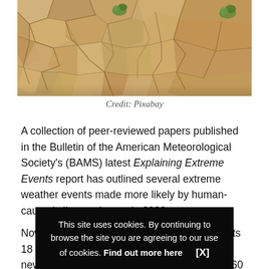[Figure (photo): Cracked dry earth / drought soil with small patches of green plants visible. Photo of severely parched ground with deep fissures in a polygon pattern.]
Credit: Pixabay
A collection of peer-reviewed papers published in the Bulletin of the American Meteorological Society's (BAMS) latest Explaining Extreme Events report has outlined several extreme weather events made more likely by human-caused climate change in 2020.
Now in its 10th edition, the publication presents 18 new ana[lyses from researchers in more than 60] countrie[s examining 20 weather and climate] and mo[re...]